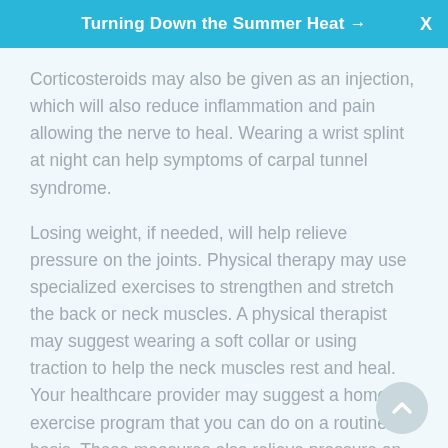Turning Down the Summer Heat →  X
Corticosteroids may also be given as an injection, which will also reduce inflammation and pain allowing the nerve to heal. Wearing a wrist splint at night can help symptoms of carpal tunnel syndrome.
Losing weight, if needed, will help relieve pressure on the joints. Physical therapy may use specialized exercises to strengthen and stretch the back or neck muscles. A physical therapist may suggest wearing a soft collar or using traction to help the neck muscles rest and heal. Your healthcare provider may suggest a home exercise program that you can do on a routine basis. These measures also relieve pressure on the nerve.
Your healthcare provider may be able to suggest self-care steps to help prevent or treat a pinched nerve.